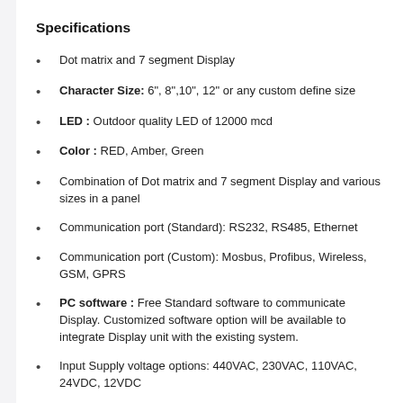Specifications
Dot matrix and 7 segment Display
Character Size: 6", 8",10", 12" or any custom define size
LED : Outdoor quality LED of 12000 mcd
Color : RED, Amber, Green
Combination of Dot matrix and 7 segment Display and various sizes in a panel
Communication port (Standard): RS232, RS485, Ethernet
Communication port (Custom): Mosbus, Profibus, Wireless, GSM, GPRS
PC software : Free Standard software to communicate Display. Customized software option will be available to integrate Display unit with the existing system.
Input Supply voltage options: 440VAC, 230VAC, 110VAC, 24VDC, 12VDC